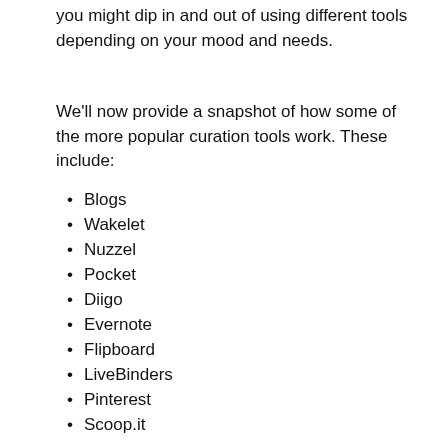you might dip in and out of using different tools depending on your mood and needs.
We'll now provide a snapshot of how some of the more popular curation tools work. These include:
Blogs
Wakelet
Nuzzel
Pocket
Diigo
Evernote
Flipboard
LiveBinders
Pinterest
Scoop.it
Blogs
Blogs are a popular form of curation tool